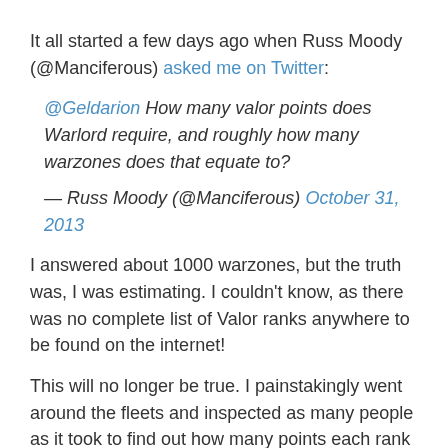It all started a few days ago when Russ Moody (@Manciferous) asked me on Twitter:
@Geldarion How many valor points does Warlord require, and roughly how many warzones does that equate to? — Russ Moody (@Manciferous) October 31, 2013
I answered about 1000 warzones, but the truth was, I was estimating. I couldn't know, as there was no complete list of Valor ranks anywhere to be found on the internet!
This will no longer be true. I painstakingly went around the fleets and inspected as many people as it took to find out how many points each rank takes to achieve. Without further ado, here are my findings. Continue reading →